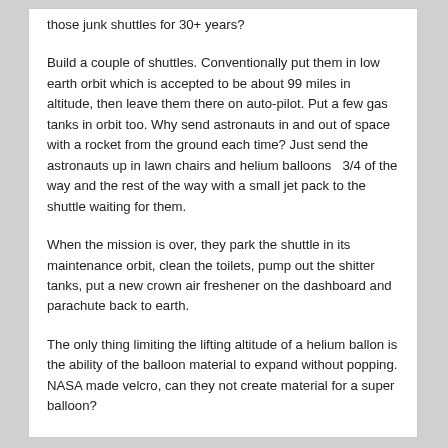those junk shuttles for 30+ years?
Build a couple of shuttles. Conventionally put them in low earth orbit which is accepted to be about 99 miles in altitude, then leave them there on auto-pilot. Put a few gas tanks in orbit too. Why send astronauts in and out of space with a rocket from the ground each time? Just send the astronauts up in lawn chairs and helium balloons  3/4 of the way and the rest of the way with a small jet pack to the shuttle waiting for them.
When the mission is over, they park the shuttle in its maintenance orbit, clean the toilets, pump out the shitter tanks, put a new crown air freshener on the dashboard and parachute back to earth.
The only thing limiting the lifting altitude of a helium ballon is the ability of the balloon material to expand without popping. NASA made velcro, can they not create material for a super balloon?
Our atmosphere is made up mostly of nitrogen and